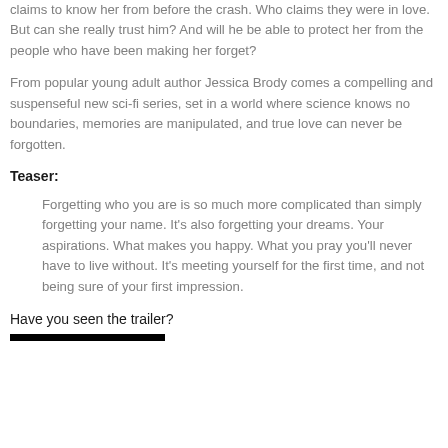claims to know her from before the crash. Who claims they were in love. But can she really trust him? And will he be able to protect her from the people who have been making her forget?
From popular young adult author Jessica Brody comes a compelling and suspenseful new sci-fi series, set in a world where science knows no boundaries, memories are manipulated, and true love can never be forgotten.
Teaser:
Forgetting who you are is so much more complicated than simply forgetting your name. It's also forgetting your dreams. Your aspirations. What makes you happy. What you pray you'll never have to live without. It's meeting yourself for the first time, and not being sure of your first impression.
Have you seen the trailer?